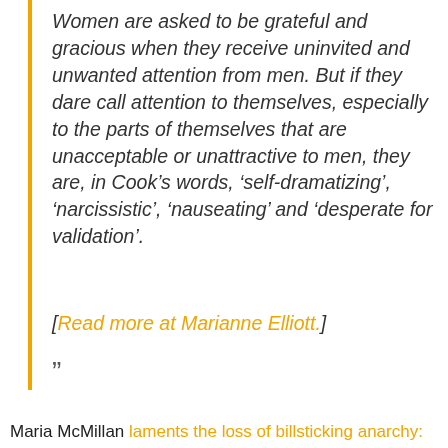Women are asked to be grateful and gracious when they receive uninvited and unwanted attention from men. But if they dare call attention to themselves, especially to the parts of themselves that are unacceptable or unattractive to men, they are, in Cook’s words, ‘self-dramatizing’, ‘narcissistic’, ‘nauseating’ and ‘desperate for validation’.
[Read more at Marianne Elliott.]
”
Maria McMillan laments the loss of billsticking anarchy: